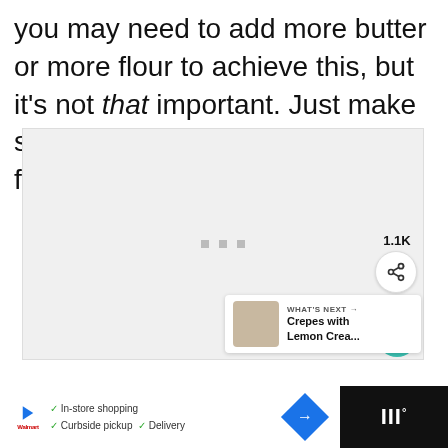you may need to add more butter or more flour to achieve this, but it's not that important. Just make sure that there aren't too much flour at the bottom of the bowl.
[Figure (photo): A light grey rectangular image placeholder area with three small square dots centered in the middle, indicating a loading or empty image slot. To the right side are a teal heart/like button showing 1.1K likes and a share button. A 'WHAT'S NEXT' card shows 'Crepes with Lemon Crea...' with a thumbnail.]
WHAT'S NEXT → Crepes with Lemon Crea...
In-store shopping  Curbside pickup  Delivery